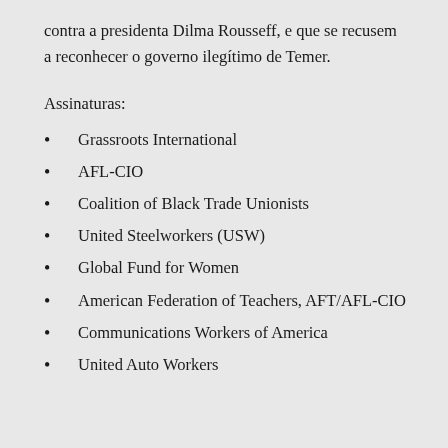contra a presidenta Dilma Rousseff, e que se recusem a reconhecer o governo ilegítimo de Temer.
Assinaturas:
Grassroots International
AFL-CIO
Coalition of Black Trade Unionists
United Steelworkers (USW)
Global Fund for Women
American Federation of Teachers, AFT/AFL-CIO
Communications Workers of America
United Auto Workers